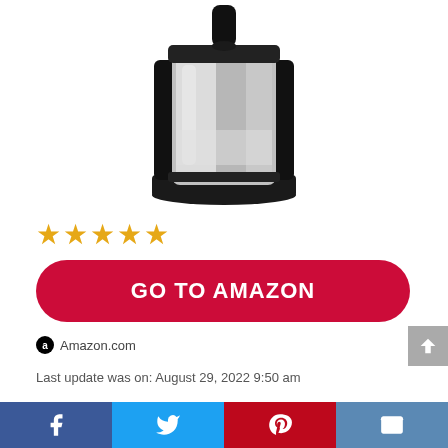[Figure (photo): Coffee maker with black body and stainless steel thermal carafe]
★★★★★
GO TO AMAZON
Amazon.com
Last update was on: August 29, 2022 9:50 am
10 cup thermal carafe with a drip-free pourspout